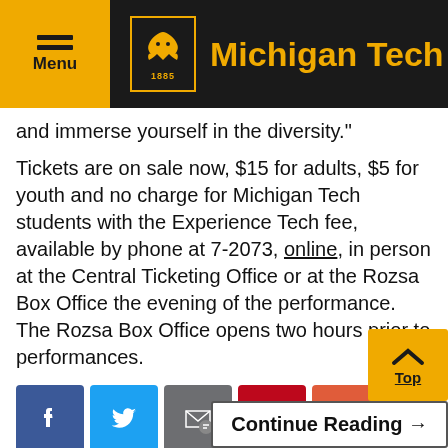Michigan Tech
and immerse yourself in the diversity.”
Tickets are on sale now, $15 for adults, $5 for youth and no charge for Michigan Tech students with the Experience Tech fee, available by phone at 7-2073, online, in person at the Central Ticketing Office or at the Rozsa Box Office the evening of the performance. The Rozsa Box Office opens two hours prior to performances.
[Figure (infographic): Social media share buttons: Facebook, Twitter, Email, Pinterest, More]
Continue Reading →